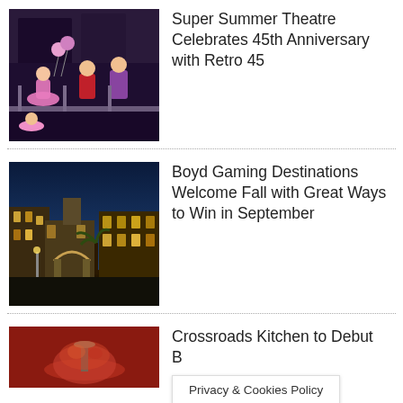[Figure (photo): Theatre performers on stage with pink costumes and balloons]
Super Summer Theatre Celebrates 45th Anniversary with Retro 45
[Figure (photo): Night view of illuminated casino resort buildings with palm trees]
Boyd Gaming Destinations Welcome Fall with Great Ways to Win in September
[Figure (photo): Close-up of food dish on a plate with red background]
Crossroads Kitchen to Debut B...nning
Privacy & Cookies Policy